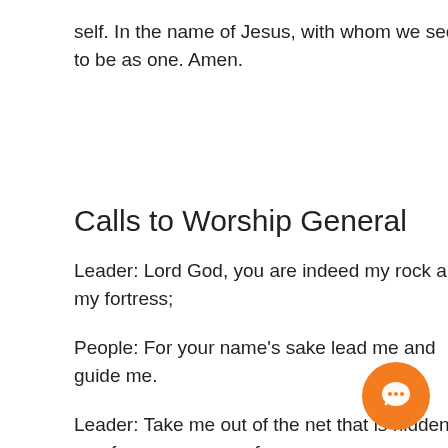self. In the name of Jesus, with whom we seek to be as one. Amen.
Calls to Worship General
Leader: Lord God, you are indeed my rock and my fortress;
People: For your name's sake lead me and guide me.
Leader: Take me out of the net that is hidden for me, for you are my refuge.
People: Into your hand I commit my spirit; you have redeemed me, O Lord, faithful God.